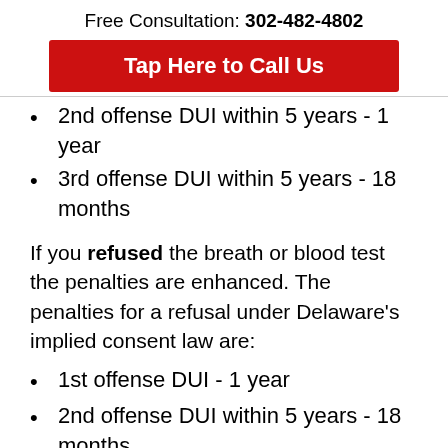Free Consultation: 302-482-4802
Tap Here to Call Us
2nd offense DUI within 5 years - 1 year
3rd offense DUI within 5 years - 18 months
If you refused the breath or blood test the penalties are enhanced. The penalties for a refusal under Delaware's implied consent law are:
1st offense DUI - 1 year
2nd offense DUI within 5 years - 18 months
3rd offense DUI within 5 years - 24